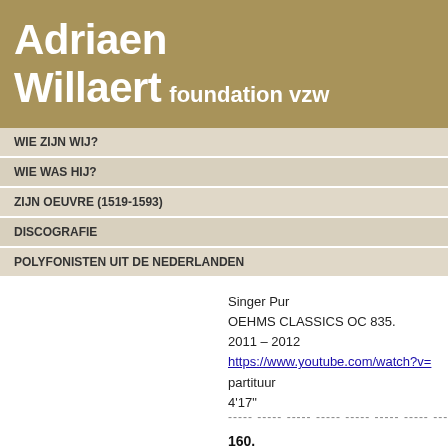Adriaen Willaert foundation vzw
WIE ZIJN WIJ?
WIE WAS HIJ?
ZIJN OEUVRE (1519-1593)
DISCOGRAFIE
POLYFONISTEN UIT DE NEDERLANDEN
Singer Pur
OEHMS CLASSICS OC 835.
2011 – 2012
https://www.youtube.com/watch?v=
partituur
4'17"
----- ----- ----- ----- ----- ----- ----- -----
160.
E SE PER GELOSIA
Zie hier boven : cd 32 – Romanesque
Romanesque o.l.v. Philippe Malfeyt
----- ----- ----- -----